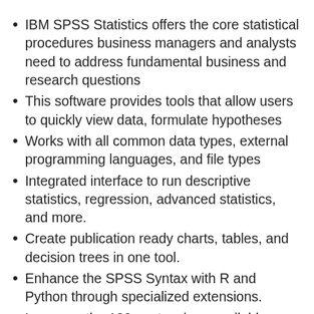IBM SPSS Statistics offers the core statistical procedures business managers and analysts need to address fundamental business and research questions
This software provides tools that allow users to quickly view data, formulate hypotheses
Works with all common data types, external programming languages, and file types
Integrated interface to run descriptive statistics, regression, advanced statistics, and more.
Create publication ready charts, tables, and decision trees in one tool.
Enhance the SPSS Syntax with R and Python through specialized extensions.
Leverage the 130+ extensions available on our Extension Hub